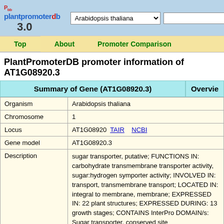[Figure (logo): PlantPromoterDB 3.0 logo with navigation bar showing Arabidopsis thaliana dropdown]
PlantPromoterDB promoter information of AT1G08920.3
Summary of Gene (AT1G08920.3)
| Field | Value |
| --- | --- |
| Organism | Arabidopsis thaliana |
| Chromosome | 1 |
| Locus | AT1G08920  TAIR    NCBI |
| Gene model | AT1G08920.3 |
| Description | sugar transporter, putative; FUNCTIONS IN: carbohydrate transmembrane transporter activity, sugar:hydrogen symporter activity; INVOLVED IN: transport, transmembrane transport; LOCATED IN: integral to membrane, membrane; EXPRESSED IN: 22 plant structures; EXPRESSED DURING: 13 growth stages; CONTAINS InterPro DOMAIN/s: Sugar transporter, conserved site (InterPro:IPR005829), General substrate transporter (InterPro:IPR005828), Sugar/inositol transporter (InterPro:IPR003663), Phosphopantetheine attachment site (InterPro:IPR006162), Major facilitator superfamily, general substrate transporter (InterPro:IPR016196); BEST Arabidopsis |